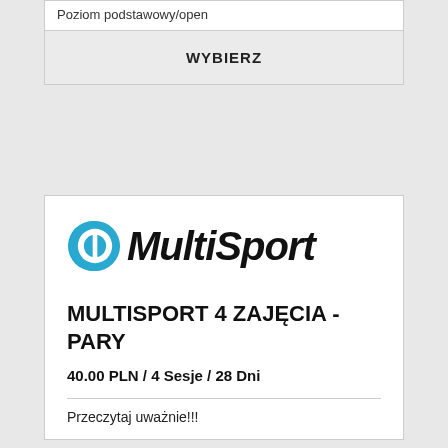Poziom podstawowy/open
WYBIERZ
[Figure (logo): MultiSport logo: blue circle with letter O (Benefit Systems style) followed by bold italic text 'MultiSport' in black]
MULTISPORT 4 ZAJĘCIA - PARY
40.00 PLN / 4 Sesje / 28 Dni
Przeczytaj uważnie!!!